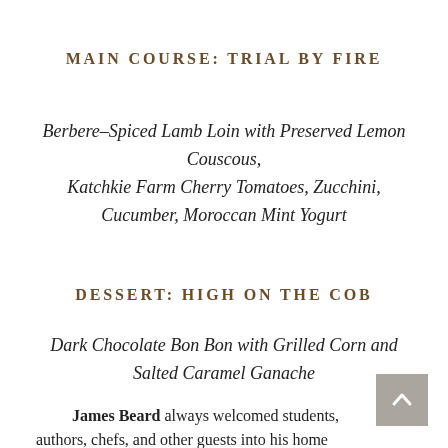MAIN COURSE: TRIAL BY FIRE
Berbere-Spiced Lamb Loin with Preserved Lemon Couscous,
Katchkie Farm Cherry Tomatoes, Zucchini,
Cucumber, Moroccan Mint Yogurt
DESSERT: HIGH ON THE COB
Dark Chocolate Bon Bon with Grilled Corn and Salted Caramel Ganache
James Beard always welcomed students, authors, chefs, and other guests into his home